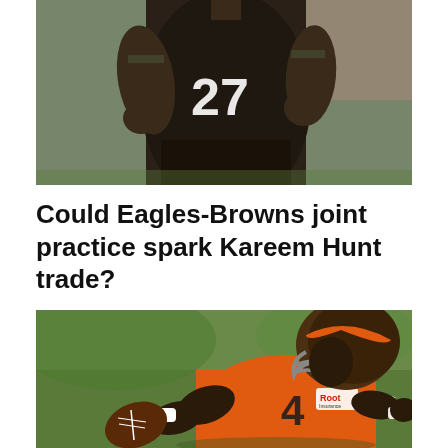[Figure (photo): Football player wearing jersey number 27 in a dark brown/black uniform running, viewed from chest down]
Could Eagles-Browns joint practice spark Kareem Hunt trade?
[Figure (photo): Cleveland Browns quarterback wearing orange jersey number 4 in throwing stance holding a football, wearing a brown helmet with orange stripe and Root Insurance logo on jersey]